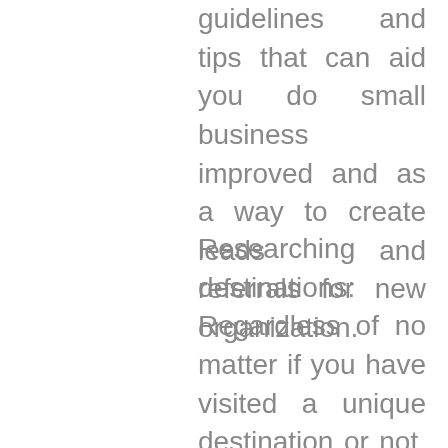guidelines and tips that can aid you do small business improved and as a way to create leads and referrals for new organization.
Researching travel destinations: Regardless of no matter if you have visited a unique destination or not, you are going to will need to maintain up with the adjustments (both great and terrible), attractions and innovations in the most well-liked tourist places, as nicely as explore the new ones your...